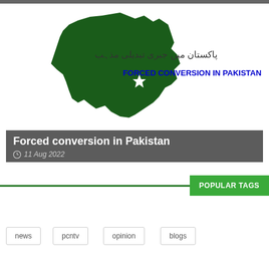[Figure (illustration): Top image bar (partial image cropped at top)]
[Figure (illustration): Map of Pakistan in dark green with crescent and star, with Urdu text and English text 'FORCED CONVERSION IN PAKISTAN' in blue bold]
Forced conversion in Pakistan
11 Aug 2022
POPULAR TAGS
news
pcntv
opinion
blogs